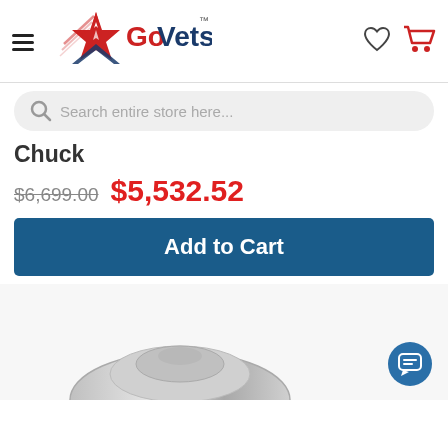GoVets
Search entire store here...
Chuck
$6,699.00 $5,532.52
Add to Cart
[Figure (photo): Product image of a metal chuck/lathe component, silver metallic, partially visible at bottom of page]